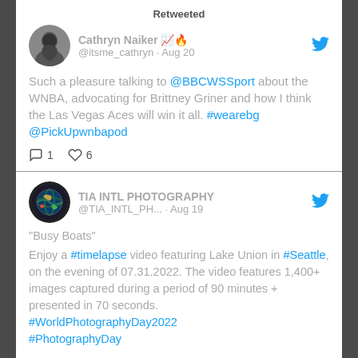Retweeted
Cathryn Naiker 📈 @itsme_cathryn · Aug 20
Such a pleasure talking to @BBCWSSport about the WNBA, advocating for Brittney Griner and how I think the Las Vegas Aces will win it all. #wearebg @PickUpwnbapod
1  6
TIA INTL PHOTOGRAPHY @TIA_INTL_PH... · Aug 19
"Busy Boats"
Enjoy a #timelapse video featuring Lake Union in #Seattle, on the evening of 07.31.2022. The video features 1,400+ images captured during a period of 90 minutes + presented in 70 seconds. #WorldPhotographyDay2022 #PhotographyDay